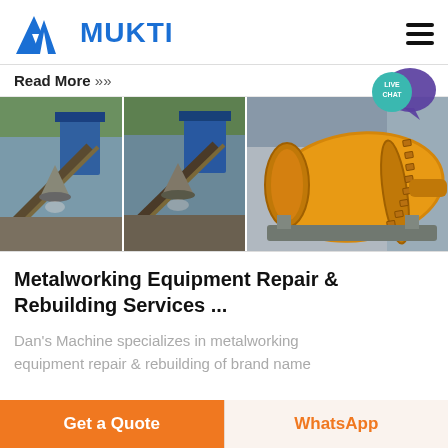MUKTI
Read More »
[Figure (photo): Three industrial images: two showing conveyor belt systems with cone-shaped dust collectors and blue industrial machinery at a mining/quarrying site, and one showing a large yellow ball mill machine.]
Metalworking Equipment Repair & Rebuilding Services ...
Dan's Machine specializes in metalworking equipment repair & rebuilding of brand name
Get a Quote
WhatsApp